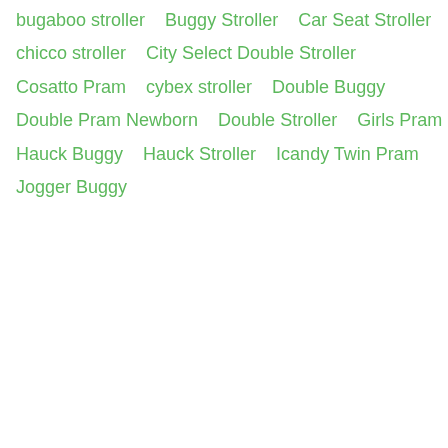bugaboo stroller
Buggy Stroller
Car Seat Stroller
chicco stroller
City Select Double Stroller
Cosatto Pram
cybex stroller
Double Buggy
Double Pram Newborn
Double Stroller
Girls Pram
Hauck Buggy
Hauck Stroller
Icandy Twin Pram
Jogger Buggy